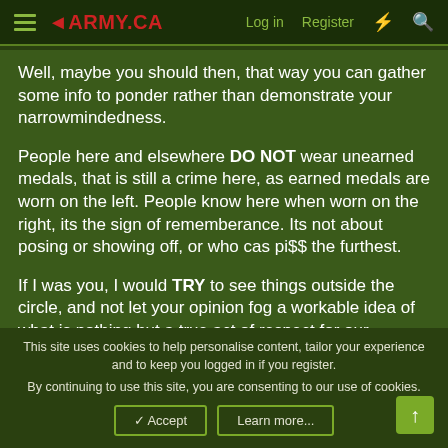≡ ◄ARMY.CA   Log in   Register  ⚡  🔍
Well, maybe you should then, that way you can gather some info to ponder rather than demonstrate your narrowmindedness.
People here and elsewhere DO NOT wear unearned medals, that is still a crime here, as earned medals are worn on the left. People know here when worn on the right, its the sign of rememberance. Its not about posing or showing off, or who cas pi$$ the furthest.
If I was you, I would TRY to see things outside the circle, and not let your opinion fog a workable idea of what is nothing but a true act of respect for our Veterans from all conflicts.
This site uses cookies to help personalise content, tailor your experience and to keep you logged in if you register.
By continuing to use this site, you are consenting to our use of cookies.